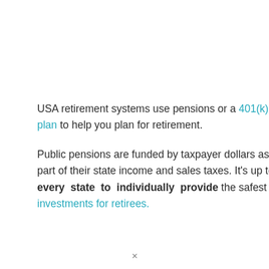USA retirement systems use pensions or a 401(k) plan to help you plan for retirement.
Public pensions are funded by taxpayer dollars as part of their state income and sales taxes. It's up to every state to individually provide the safest investments for retirees.
×